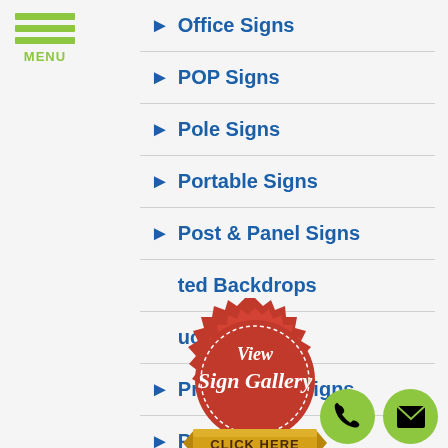[Figure (screenshot): Hamburger menu icon with three green bars and MENU label]
Office Signs
POP Signs
Pole Signs
Portable Signs
Post & Panel Signs
Printed Backdrops
Product Displays
Promotional Signs
Pylon Signs
[Figure (illustration): Red circular badge stamp with gold ribbon banner reading 'View Sign Gallery CLICK HERE']